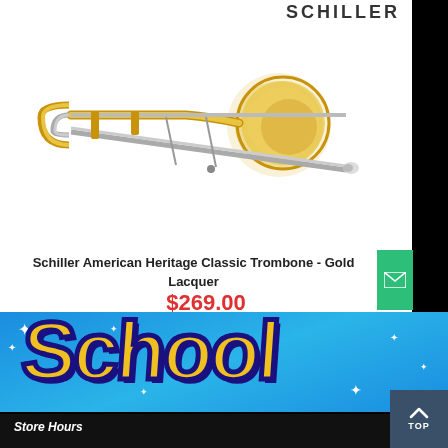SCHILLER
[Figure (photo): Photo of a Schiller American Heritage Classic Trombone in gold lacquer finish against a white background]
Schiller American Heritage Classic Trombone - Gold Lacquer
$269.00
[Figure (illustration): Blue sale banner with large yellow and dark blue groovy text reading 'School' with sparkle star decorations]
Store Hours
[Figure (other): Green email contact button with envelope icon, and dark blue TOP/back-to-top button with upward arrow]